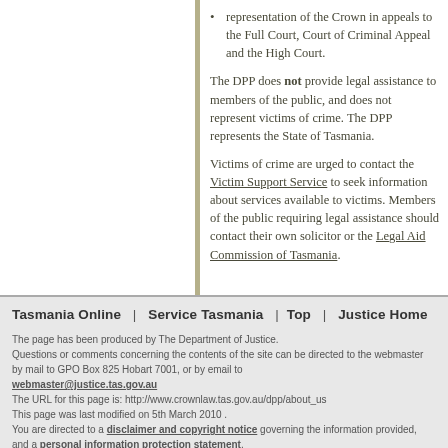representation of the Crown in appeals to the Full Court, Court of Criminal Appeal and the High Court.
The DPP does not provide legal assistance to members of the public, and does not represent victims of crime.  The DPP represents the State of Tasmania.
Victims of crime are urged to contact the Victim Support Service to seek information about services available to victims.  Members of the public requiring legal assistance should contact their own solicitor or the Legal Aid Commission of Tasmania.
Tasmania Online  |  Service Tasmania  | Top  |  Justice Home

The page has been produced by The Department of Justice.
Questions or comments concerning the contents of the site can be directed to the webmaster by mail to GPO Box 825 Hobart 7001, or by email to webmaster@justice.tas.gov.au
The URL for this page is: http://www.crownlaw.tas.gov.au/dpp/about_us
This page was last modified on 5th March 2010 .
You are directed to a disclaimer and copyright notice governing the information provided, and a personal information protection statement.